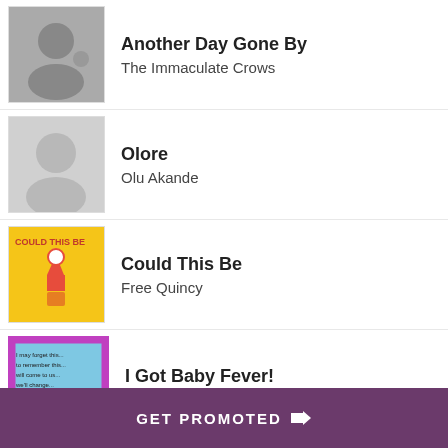Another Day Gone By — The Immaculate Crows
Olore — Olu Akande
Could This Be — Free Quincy
I Got Baby Fever! — Tina Knowledgeable Peden
I Hope I See You Again — Ayenn Legagneur Stark
Heme Aquí — Amalia Maldonado
Shi — Ava Myers
GET PROMOTED